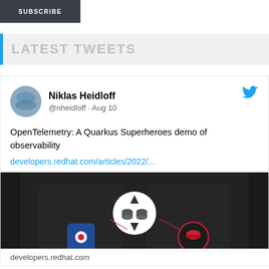SUBSCRIBE
LATEST TWEETS
Niklas Heidloff
@nheidloff · Aug 10
OpenTelemetry: A Quarkus Superheroes demo of observability
developers.redhat.com/articles/2022/…
[Figure (screenshot): Dark background diagram showing microservices/containers with icons: a white circle with database/move icon in center, a blue square container icon on the left, and a red hat icon on the right with connecting lines]
developers.redhat.com